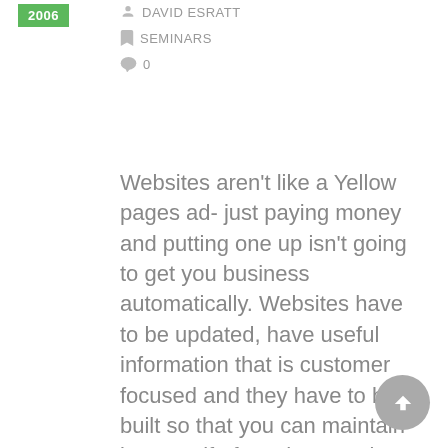2006 DAVID ESRATT SEMINARS 0
Websites aren't like a Yellow pages ad- just paying money and putting one up isn't going to get you business automatically. Websites have to be updated, have useful information that is customer focused and they have to be built so that you can maintain it yourself. If you have a site like that, and come to our seminar you will be able to get listed on the first page of Google (without paying for ads). We can teach